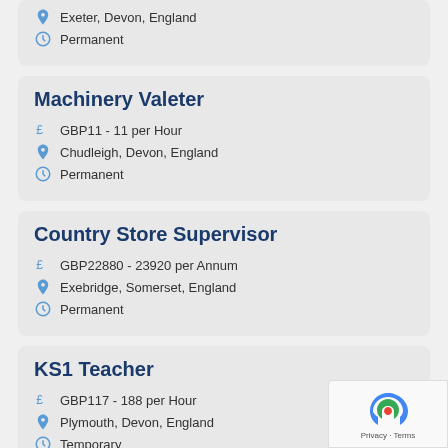Exeter, Devon, England | Permanent
Machinery Valeter
GBP11 - 11 per Hour
Chudleigh, Devon, England
Permanent
Country Store Supervisor
GBP22880 - 23920 per Annum
Exebridge, Somerset, England
Permanent
KS1 Teacher
GBP117 - 188 per Hour
Plymouth, Devon, England
Temporary